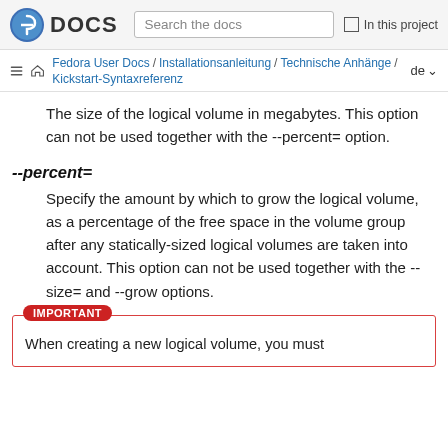Fedora DOCS | Search the docs | In this project
Fedora User Docs / Installationsanleitung / Technische Anhänge / Kickstart-Syntaxreferenz | de
The size of the logical volume in megabytes. This option can not be used together with the --percent= option.
--percent=
Specify the amount by which to grow the logical volume, as a percentage of the free space in the volume group after any statically-sized logical volumes are taken into account. This option can not be used together with the --size= and --grow options.
IMPORTANT
When creating a new logical volume, you must